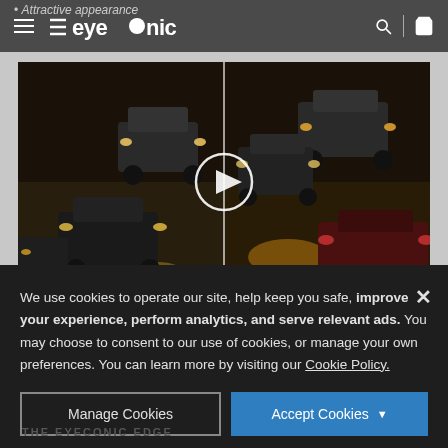Attractive appearance
[Figure (screenshot): Eyeconic website navigation bar with hamburger menu, eyeconic logo, search and cart icons on dark gray background]
[Figure (photo): Side-by-side video comparison of nighttime highway traffic showing cars with headlights, with a play button circle in the center]
We use cookies to operate our site, help keep you safe, improve your experience, perform analytics, and serve relevant ads. You may choose to consent to our use of cookies, or manage your own preferences. You can learn more by visiting our Cookie Policy.
Manage Cookies
Accept Cookies
THE EYECONIC EDGE